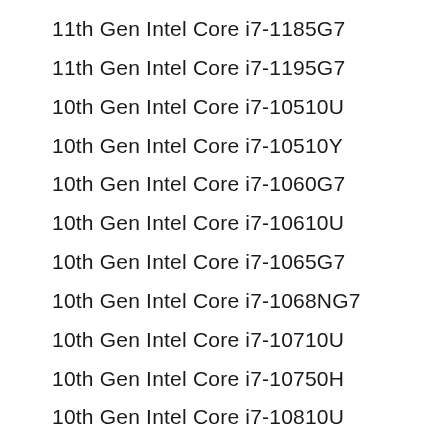11th Gen Intel Core i7-1185G7
11th Gen Intel Core i7-1195G7
10th Gen Intel Core i7-10510U
10th Gen Intel Core i7-10510Y
10th Gen Intel Core i7-1060G7
10th Gen Intel Core i7-10610U
10th Gen Intel Core i7-1065G7
10th Gen Intel Core i7-1068NG7
10th Gen Intel Core i7-10710U
10th Gen Intel Core i7-10750H
10th Gen Intel Core i7-10810U
10th Gen Intel Core i7-10850H
10th Gen Intel Core i7-10870H
10th Gen Intel Core i7-10875H
9th Gen Intel Core i7-9750HF